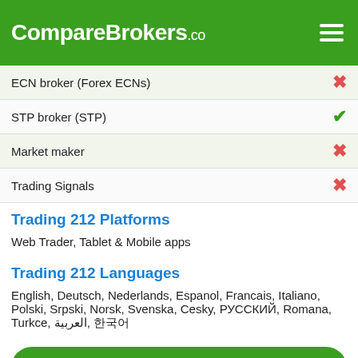CompareBrokers.co
ECN broker (Forex ECNs) — ✖
STP broker (STP) — ✔
Market maker — ✖
Trading Signals — ✖
Trading 212 Platforms
Web Trader, Tablet & Mobile apps
Trading 212 Languages
English, Deutsch, Nederlands, Espanol, Francais, Italiano, Polski, Srpski, Norsk, Svenska, Cesky, РУССКИЙ, Romana, Turkce, العربية, 한국어
See Trading 212 features here